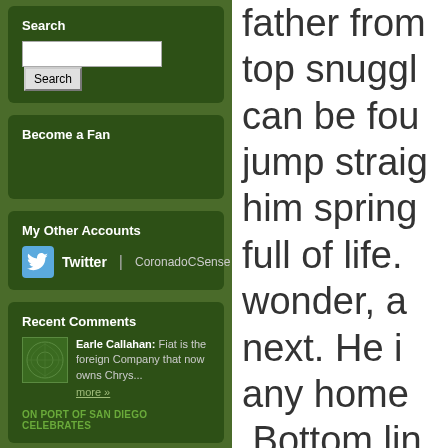Search
Become a Fan
My Other Accounts
Twitter | CoronadoCSense
Recent Comments
Earle Callahan: Fiat is the foreign Company that now owns Chrys... more »
ON PORT OF SAN DIEGO CELEBRATES
father from top snuggle can be found jump straight him spring full of life. wonder, a next. He i any home Bottom lin who gets a surroundin Animal C